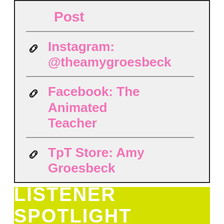Post
Instagram: @theamygroesbeck
Facebook: The Animated Teacher
TpT Store: Amy Groesbeck
LISTENER SPOTLIGHT